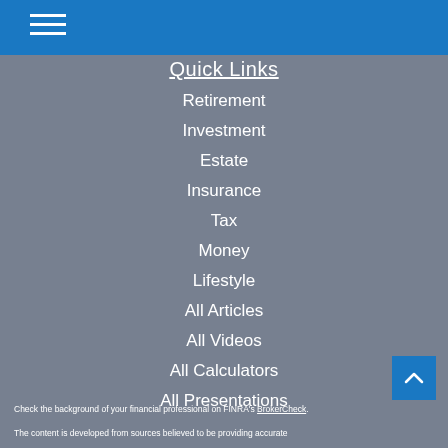Quick Links
Retirement
Investment
Estate
Insurance
Tax
Money
Lifestyle
All Articles
All Videos
All Calculators
All Presentations
Check the background of your financial professional on FINRA's BrokerCheck.
The content is developed from sources believed to be providing accurate...